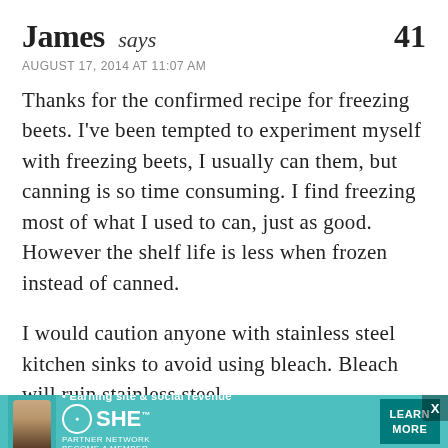James says  41
AUGUST 17, 2014 AT 11:07 AM
Thanks for the confirmed recipe for freezing beets. I've been tempted to experiment myself with freezing beets, I usually can them, but canning is so time consuming. I find freezing most of what I used to can, just as good. However the shelf life is less when frozen instead of canned.
I would caution anyone with stainless steel kitchen sinks to avoid using bleach. Bleach will ruin stainless steel.
Good job Kevin.
[Figure (infographic): Advertisement banner for SHE Media partner network. Teal background with woman photo, bullet '• Earning site & social revenue', SHE logo, PARTNER NETWORK / BECOME A MEMBER text, and LEARN MORE button.]